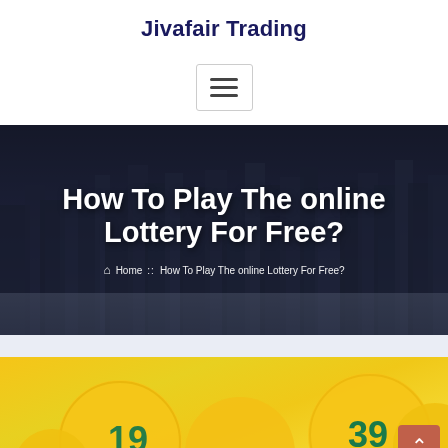Jivafair Trading
[Figure (screenshot): Hamburger menu button with three horizontal lines]
[Figure (photo): Hero banner with city skyline background showing text 'How To Play The online Lottery For Free?' and breadcrumb navigation]
How To Play The online Lottery For Free?
Home :: How To Play The online Lottery For Free?
[Figure (photo): Yellow lottery balls with numbers including 19, 39, 6, and others visible]